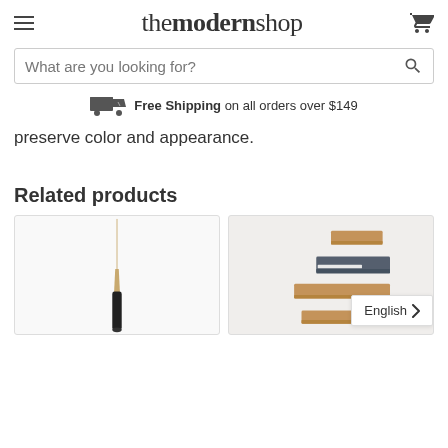themodernshop
What are you looking for?
Free Shipping on all orders over $149
preserve color and appearance.
Related products
[Figure (photo): Product image showing a slender gold and black object (possibly a pen or tool) against white background]
[Figure (photo): Product image showing wooden and dark grey wall-mounted shelf units against white background]
English >